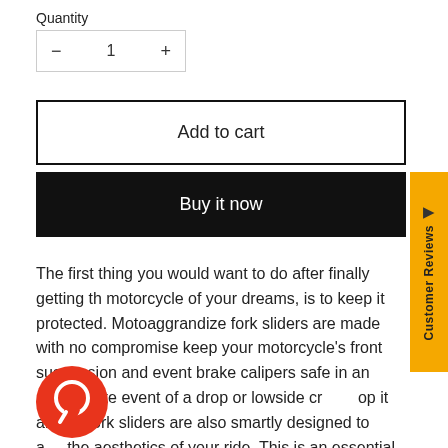Quantity
— 1 +
Add to cart
Buy it now
Customer Reviews
The first thing you would want to do after finally getting the motorcycle of your dreams, is to keep it protected. Motoaggrandize fork sliders are made with no compromise keep your motorcycle's front suspension and event brake calipers safe in an unfortunate event of a drop or lowside crash. On top it all, the fork sliders are also smartly designed to add the aesthetics of your ride. This is an essential investment to protect your most precious purchase.
[Figure (other): Chat bubble / support icon in red/orange circle]